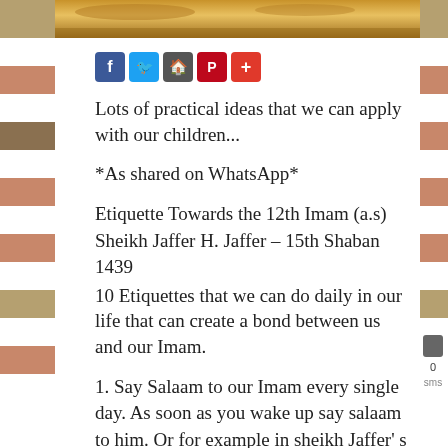[Figure (photo): Top banner image showing desert/sandy landscape in warm golden-brown tones]
[Figure (infographic): Social sharing buttons: Facebook (blue), Twitter (blue), Share (grey), Pinterest (red), Plus/More (red)]
Lots of practical ideas that we can apply with our children...
*As shared on WhatsApp*
Etiquette Towards the 12th Imam (a.s)
Sheikh Jaffer H. Jaffer – 15th Shaban 1439
10 Etiquettes that we can do daily in our life that can create a bond between us and our Imam.
1. Say Salaam to our Imam every single day. As soon as you wake up say salaam to him. Or for example in sheikh Jaffer' s house they set an alarm every single day at 3:13 pm and when the alarm goes on the whole family says salaam to Mahdi (a.s). He...